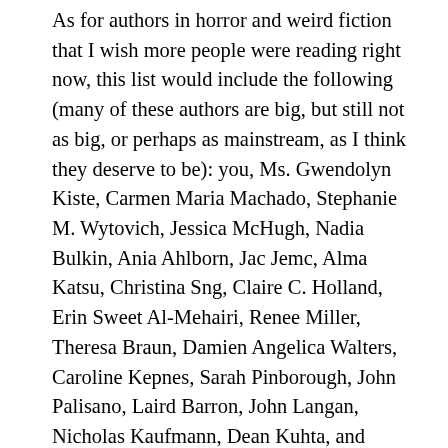As for authors in horror and weird fiction that I wish more people were reading right now, this list would include the following (many of these authors are big, but still not as big, or perhaps as mainstream, as I think they deserve to be): you, Ms. Gwendolyn Kiste, Carmen Maria Machado, Stephanie M. Wytovich, Jessica McHugh, Nadia Bulkin, Ania Ahlborn, Jac Jemc, Alma Katsu, Christina Sng, Claire C. Holland, Erin Sweet Al-Mehairi, Renee Miller, Theresa Braun, Damien Angelica Walters, Caroline Kepnes, Sarah Pinborough, John Palisano, Laird Barron, John Langan, Nicholas Kaufmann, Dean Kuhta, and Calvin Demmer. Again, many of these names are giants in the horror community, but in contacting local bookstores about the prospect of in-store events for Something Borrowed, Something Blood-Soaked, one event coordinator wrote to me, “our store doesn’t carry much in the horror genre — Stephen King is about as far as we go, so I’m not sure about the interest.” That, to me, is an unfortunate example of the way some individuals perceive the state of horror fiction, and those